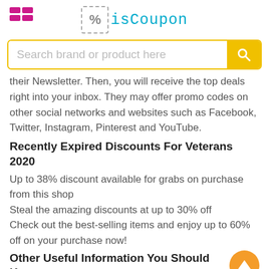isCoupon
their Newsletter. Then, you will receive the top deals right into your inbox. They may offer promo codes on other social networks and websites such as Facebook, Twitter, Instagram, Pinterest and YouTube.
Recently Expired Discounts For Veterans 2020
Up to 38% discount available for grabs on purchase from this shop
Steal the amazing discounts at up to 30% off
Check out the best-selling items and enjoy up to 60% off on your purchase now!
Other Useful Information You Should Know
isCoupon is a community-driven deals site, posting dozens of fantastic deals, coupons, and other goodies throughout the day. Coupons to ever